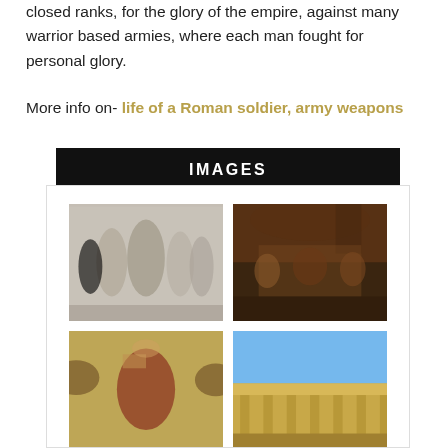closed ranks, for the glory of the empire, against many warrior based armies, where each man fought for personal glory.
More info on- life of a Roman soldier, army weapons
IMAGES
[Figure (photo): Ancient Roman marble relief sculpture showing several figures in classical style]
[Figure (photo): A painting depicting a Roman feast or banquet scene with many figures gathered in an arched interior]
[Figure (photo): Ancient Roman mosaic featuring a central armored figure with animals and decorative birds]
[Figure (photo): Ancient Roman temple or building with columns against a blue sky]